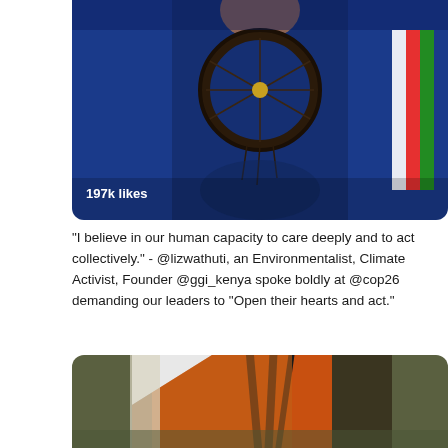[Figure (photo): Close-up photo of a person in blue clothing wearing a dark dreamcatcher-style necklace, with a striped ribbon/flag visible on the right side. Shows '197k likes' overlaid at bottom left.]
“I believe in our human capacity to care deeply and to act collectively.” - @lizwathuti, an Environmentalist, Climate Activist, Founder @ggi_kenya spoke boldly at @cop26 demanding our leaders to “Open their hearts and act.”
[Figure (photo): Close-up photo of flags including what appears to be an orange and white flag, partially visible at the bottom of the page.]